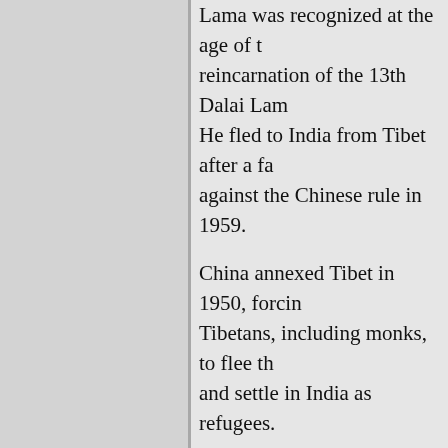Lama was recognized at the age of two as the reincarnation of the 13th Dalai Lama. He fled to India from Tibet after a failed uprising against the Chinese rule in 1959.

China annexed Tibet in 1950, forcing many Tibetans, including monks, to flee the country and settle in India as refugees.

Since then, India has
[Figure (screenshot): Screenshot of Greater Kashmir news website showing an article about the Dalai Lama, with headline, photo of the Dalai Lama, sidebar with thumbnail images, and advertisements]